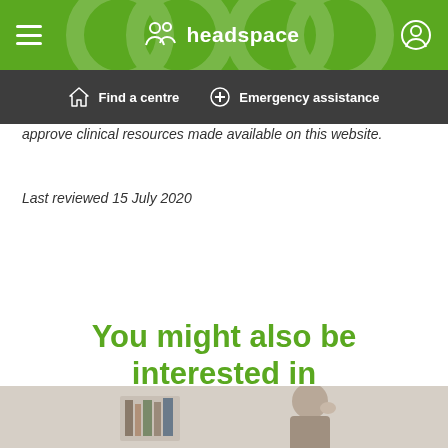headspace
Find a centre | Emergency assistance
approve clinical resources made available on this website.
Last reviewed 15 July 2020
You might also be interested in
[Figure (photo): Partial view of a person in a home/office setting]